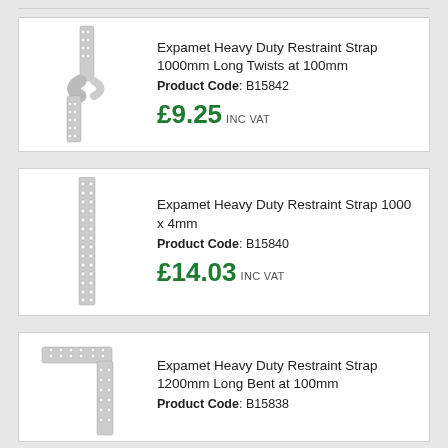[Figure (photo): Expamet Heavy Duty Restraint Strap 1000mm Long Twists at 100mm - metal strap with twisted section]
Expamet Heavy Duty Restraint Strap 1000mm Long Twists at 100mm
Product Code: B15842
£9.25 INC VAT
[Figure (photo): Expamet Heavy Duty Restraint Strap 1000 x 4mm - straight metal perforated strap]
Expamet Heavy Duty Restraint Strap 1000 x 4mm
Product Code: B15840
£14.03 INC VAT
[Figure (photo): Expamet Heavy Duty Restraint Strap 1200mm Long Bent at 100mm - L-shaped metal strap]
Expamet Heavy Duty Restraint Strap 1200mm Long Bent at 100mm
Product Code: B15838